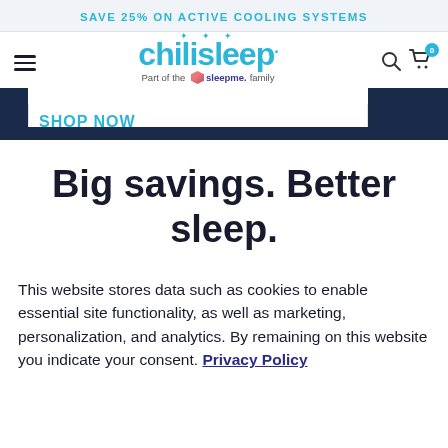SAVE 25% ON ACTIVE COOLING SYSTEMS
[Figure (logo): Chilisleep logo with 'Part of the sleepme family' tagline, hamburger menu, search and cart icons]
SHOP NOW
Big savings. Better sleep.
This website stores data such as cookies to enable essential site functionality, as well as marketing, personalization, and analytics. By remaining on this website you indicate your consent. Privacy Policy